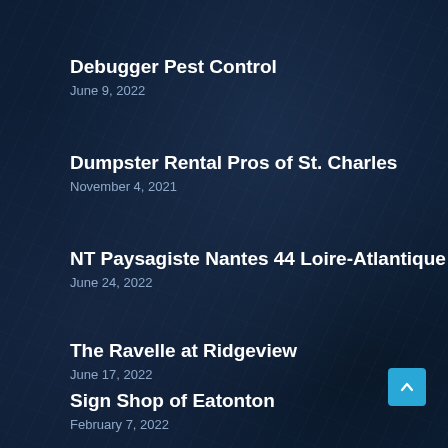Debugger Pest Control
June 9, 2022
Dumpster Rental Pros of St. Charles
November 4, 2021
NT Paysagiste Nantes 44 Loire-Atlantique
June 24, 2022
The Ravelle at Ridgeview
June 17, 2022
Sign Shop of Eatonton
February 7, 2022